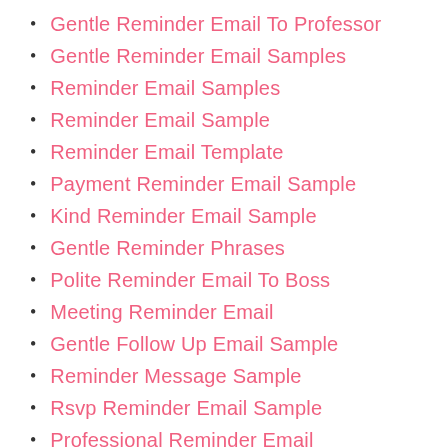Gentle Reminder Email To Professor
Gentle Reminder Email Samples
Reminder Email Samples
Reminder Email Sample
Reminder Email Template
Payment Reminder Email Sample
Kind Reminder Email Sample
Gentle Reminder Phrases
Polite Reminder Email To Boss
Meeting Reminder Email
Gentle Follow Up Email Sample
Reminder Message Sample
Rsvp Reminder Email Sample
Professional Reminder Email
Courtesy Reminder Email
Friendly Reminder Email For Event
How To Send A Polite Reminder Email
Reminder Emails Samples